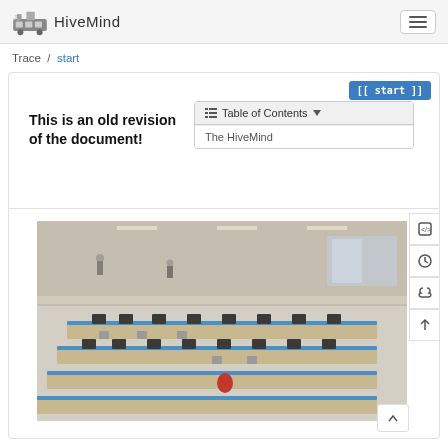HiveMind
Trace / start
[[ start ]]
This is an old revision of the document!
| Table of Contents |
| --- |
| The HiveMind |
[Figure (photo): Aerial view of a large open office space with rows of workstations and computers, two floors visible]